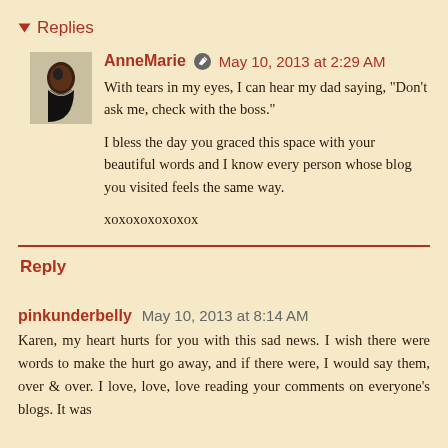▾ Replies
AnneMarie ✎ May 10, 2013 at 2:29 AM
With tears in my eyes, I can hear my dad saying, "Don't ask me, check with the boss."

I bless the day you graced this space with your beautiful words and I know every person whose blog you visited feels the same way.

xoxoxoxoxoxox
Reply
pinkunderbelly May 10, 2013 at 8:14 AM
Karen, my heart hurts for you with this sad news. I wish there were words to make the hurt go away, and if there were, I would say them, over & over. I love, love, love reading your comments on everyone's blogs. It was